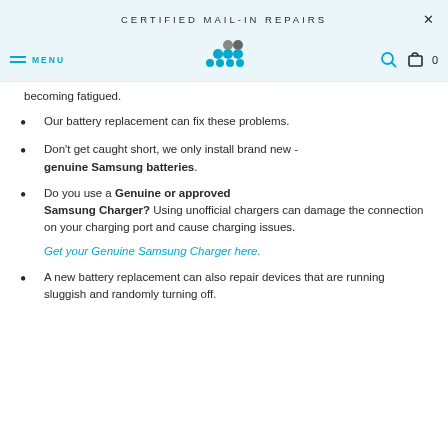CERTIFIED MAIL-IN REPAIRS
becoming fatigued.
Our battery replacement can fix these problems.
Don't get caught short, we only install brand new - genuine Samsung batteries.
Do you use a Genuine or approved Samsung Charger? Using unofficial chargers can damage the connection on your charging port and cause charging issues.
Get your Genuine Samsung Charger here.
A new battery replacement can also repair devices that are running sluggish and randomly turning off.